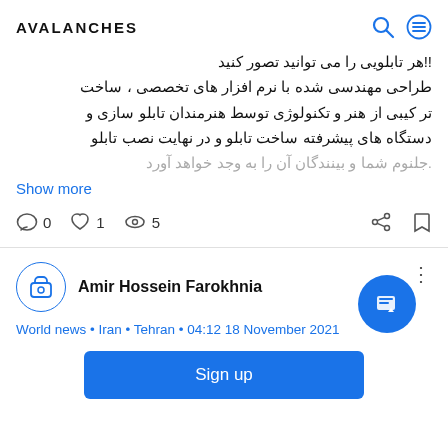AVALANCHES
!!هر تابلویی را می توانید تصور کنید طراحی مهندسی شده با نرم افزار های تخصصی ، ساخت ترکیبی از هنر و تکنولوژی توسط هنرمندان تابلو سازی و دستگاه های پیشرفته ساخت تابلو و در نهایت نصب تابلو .جلنوم شما و بینندگان آن را به وجد خواهد آورد
Show more
0  1  5
Amir Hossein Farokhnia
World news • Iran • Tehran • 04:12 18 November 2021
Sign up